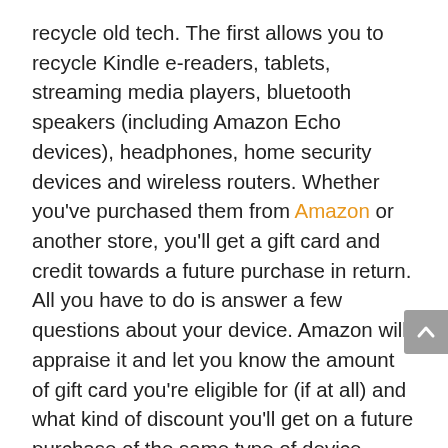recycle old tech. The first allows you to recycle Kindle e-readers, tablets, streaming media players, bluetooth speakers (including Amazon Echo devices), headphones, home security devices and wireless routers. Whether you've purchased them from Amazon or another store, you'll get a gift card and credit towards a future purchase in return. All you have to do is answer a few questions about your device. Amazon will appraise it and let you know the amount of gift card you're eligible for (if at all) and what kind of discount you'll get on a future purchase of the same type of device.
For example, say you have a tablet (whether that's a Kindle Fire, Apple iPad or Microsoft Surface product). You would tell Amazon information about